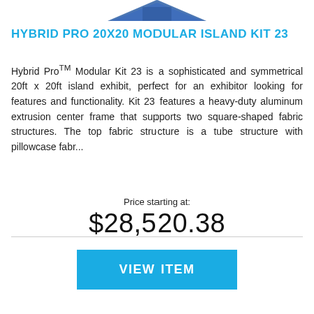[Figure (photo): Top portion of a blue modular island exhibit display, cropped at the bottom of the image]
HYBRID PRO 20X20 MODULAR ISLAND KIT 23
Hybrid Pro™ Modular Kit 23 is a sophisticated and symmetrical 20ft x 20ft island exhibit, perfect for an exhibitor looking for features and functionality. Kit 23 features a heavy-duty aluminum extrusion center frame that supports two square-shaped fabric structures. The top fabric structure is a tube structure with pillowcase fabr...
Price starting at:
$28,520.38
VIEW ITEM